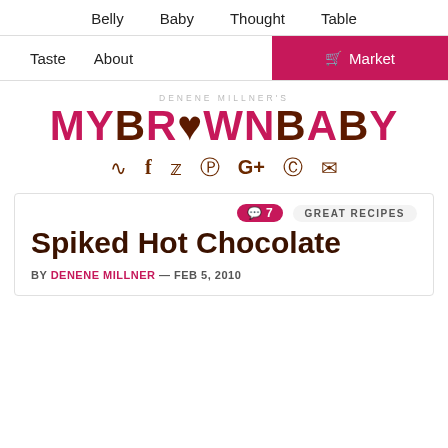Belly  Baby  Thought  Table
Taste  About  Market
[Figure (logo): MyBrownBaby logo with 'DENENE MILLNER'S' subtitle and social media icons]
Spiked Hot Chocolate
BY DENENE MILLNER — FEB 5, 2010